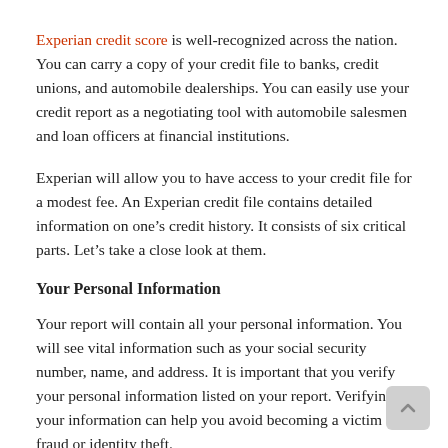Experian credit score is well-recognized across the nation. You can carry a copy of your credit file to banks, credit unions, and automobile dealerships. You can easily use your credit report as a negotiating tool with automobile salesmen and loan officers at financial institutions.
Experian will allow you to have access to your credit file for a modest fee. An Experian credit file contains detailed information on one’s credit history. It consists of six critical parts. Let’s take a close look at them.
Your Personal Information
Your report will contain all your personal information. You will see vital information such as your social security number, name, and address. It is important that you verify your personal information listed on your report. Verifying your information can help you avoid becoming a victim of fraud or identity theft.